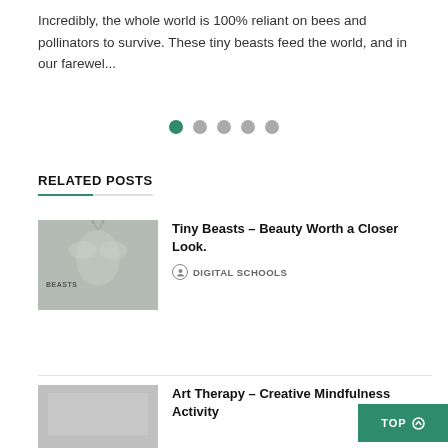Incredibly, the whole world is 100% reliant on bees and pollinators to survive. These tiny beasts feed the world, and in our farewel...
[Figure (other): Pagination dots: one active green dot followed by four inactive grey dots]
RELATED POSTS
[Figure (photo): Thumbnail image for 'Tiny Beasts – Beauty Worth a Closer Look' article with faded grey tones and text BEASTS overlaid]
Tiny Beasts – Beauty Worth a Closer Look.
DIGITAL SCHOOLS
[Figure (photo): Thumbnail image for 'Art Therapy – Creative Mindfulness Activity' article with grey tones]
Art Therapy – Creative Mindfulness Activity